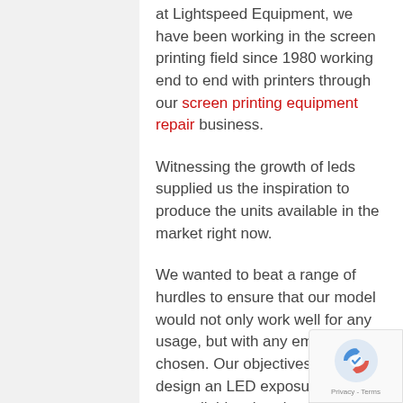at Lightspeed Equipment, we have been working in the screen printing field since 1980 working end to end with printers through our screen printing equipment repair business.
Witnessing the growth of leds supplied us the inspiration to produce the units available in the market right now.
We wanted to beat a range of hurdles to ensure that our model would not only work well for any usage, but with any emulsion chosen. Our objectives were to design an LED exposure unit that was reliable, shot detailed screens with less heat energy, had lower power costs, and ease of use and maintenance.